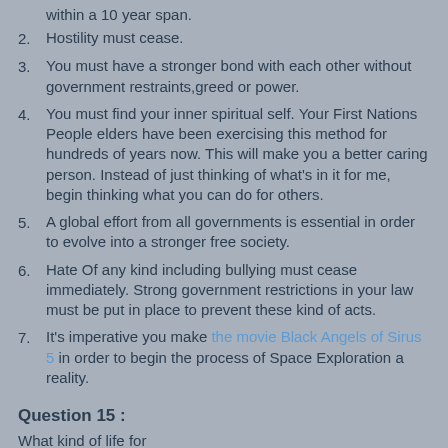within a 10 year span.
2. Hostility must cease.
3. You must have a stronger bond with each other without government restraints,greed or power.
4. You must find your inner spiritual self. Your First Nations People elders have been exercising this method for hundreds of years now. This will make you a better caring person. Instead of just thinking of what's in it for me, begin thinking what you can do for others.
5. A global effort from all governments is essential in order to evolve into a stronger free society.
6. Hate Of any kind including bullying must cease immediately. Strong government restrictions in your law must be put in place to prevent these kind of acts.
7. It's imperative you make the movie Black Angels of Sirus 5 in order to begin the process of Space Exploration a reality.
Question 15 :
What kind of life for